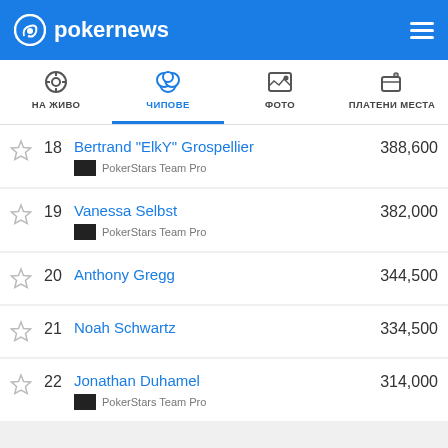pokernews
НА ЖИВО | ЧИПОВЕ | ФОТО | ПЛАТЕНИ МЕСТА
18 - Bertrand "ElkY" Grospellier - PokerStars Team Pro - 388,600
19 - Vanessa Selbst - PokerStars Team Pro - 382,000
20 - Anthony Gregg - 344,500
21 - Noah Schwartz - 334,500
22 - Jonathan Duhamel - PokerStars Team Pro - 314,000